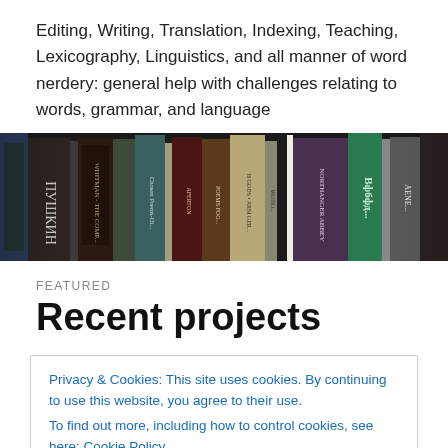Editing, Writing, Translation, Indexing, Teaching, Lexicography, Linguistics, and all manner of word nerdery: general help with challenges relating to words, grammar, and language
[Figure (photo): A row of book spines on a shelf, showing various titles including Cyrillic text, 'Chosen Poems', 'The Gods', 'Northanger Abbey', 'Aeneid', and others, in a dimly lit photograph.]
FEATURED
Recent projects
Privacy & Cookies: This site uses cookies. By continuing to use this website, you agree to their use.
To find out more, including how to control cookies, see here: Cookie Policy
Close and accept
demonstrating resilience and creativity in the face of